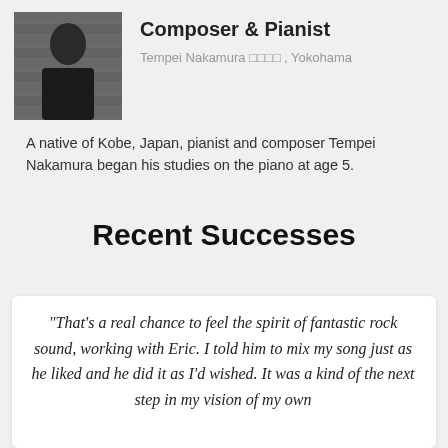[Figure (photo): Portrait photo of Tempei Nakamura, a man in dark clothing against a brick wall background]
Composer & Pianist
Tempei Nakamura □□□□ , Yokohama
A native of Kobe, Japan, pianist and composer Tempei Nakamura began his studies on the piano at age 5.
Recent Successes
"That's a real chance to feel the spirit of fantastic rock sound, working with Eric. I told him to mix my song just as he liked and he did it as I'd wished. It was a kind of the next step in my vision of my own